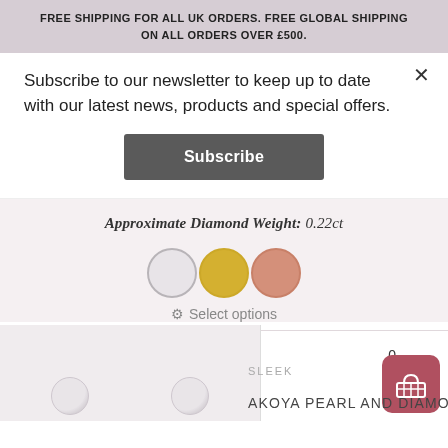FREE SHIPPING FOR ALL UK ORDERS. FREE GLOBAL SHIPPING ON ALL ORDERS OVER £500.
Subscribe to our newsletter to keep up to date with our latest news, products and special offers.
Subscribe
Approximate Diamond Weight: 0.22ct
[Figure (illustration): Three circular color swatches: white/silver, yellow gold, rose gold]
Select options
SLEEK
AKOYA PEARL AND DIAMOND STUD